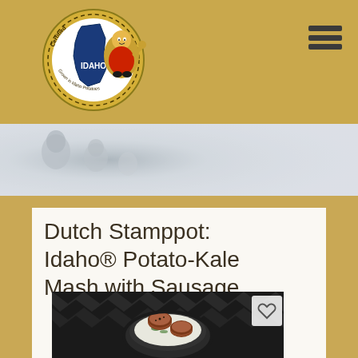[Figure (logo): Idaho Potato Commission certified logo with potato mascot character giving thumbs up]
[Figure (photo): Blurred hero banner showing family/people in background, light grey-blue tones]
Dutch Stamppot: Idaho® Potato-Kale Mash with Sausage
[Figure (photo): Food photo showing a dark cast iron bowl with kale mashed potatoes topped with sliced sausage on a dark patterned background, with a heart/favorite button overlay]